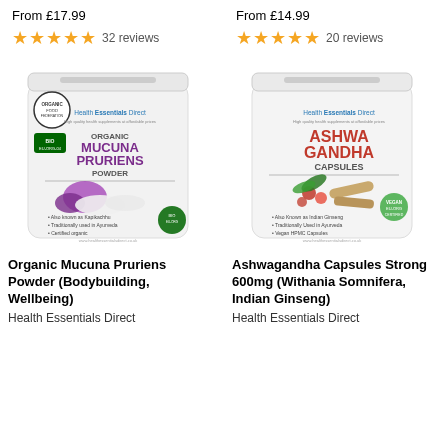From £17.99
From £14.99
★★★★★ 32 reviews
★★★★★ 20 reviews
[Figure (photo): White pouch bag of Organic Mucuna Pruriens Powder by Health Essentials Direct, with purple flowers and powder imagery, organic certification badges]
[Figure (photo): White pouch bag of Ashwagandha Capsules by Health Essentials Direct, with red berries and root imagery, vegan capsule badge]
Organic Mucuna Pruriens Powder (Bodybuilding, Wellbeing)
Ashwagandha Capsules Strong 600mg (Withania Somnifera, Indian Ginseng)
Health Essentials Direct
Health Essentials Direct